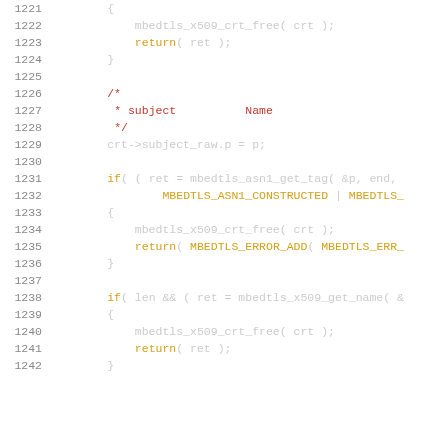[Figure (screenshot): Source code listing in C showing lines 1221-1242 of an mbedTLS certificate parsing function, with syntax highlighting. Line numbers in grey, keywords in yellow, comments in red, code in light grey on white background.]